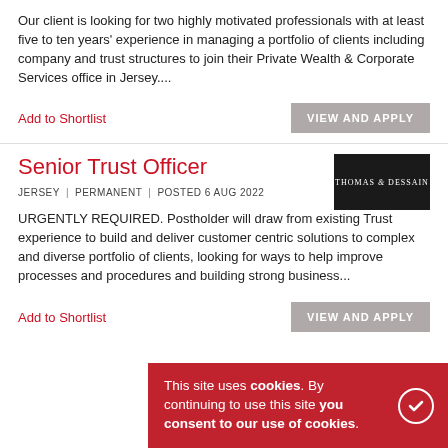Our client is looking for two highly motivated professionals with at least five to ten years' experience in managing a portfolio of clients including company and trust structures to join their Private Wealth & Corporate Services office in Jersey....
Add to Shortlist
VIEW AND APPLY
Senior Trust Officer
JERSEY | PERMANENT | POSTED 6 AUG 2022
URGENTLY REQUIRED. Postholder will draw from existing Trust experience to build and deliver customer centric solutions to complex and diverse portfolio of clients, looking for ways to help improve processes and procedures and building strong business...
Add to Shortlist
VIEW AND APPLY
This site uses cookies. By continuing to use this site you consent to our use of cookies.